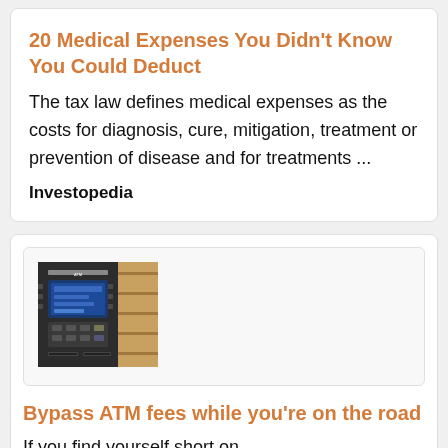20 Medical Expenses You Didn't Know You Could Deduct
The tax law defines medical expenses as the costs for diagnosis, cure, mitigation, treatment or prevention of disease and for treatments ...
Investopedia
[Figure (photo): Photo of an ATM machine]
Bypass ATM fees while you're on the road
If you find yourself short on